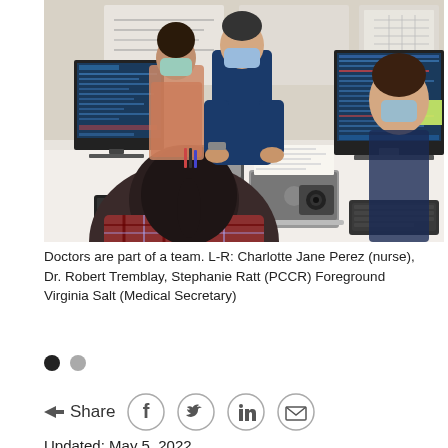[Figure (photo): Office scene showing a medical team wearing masks. Four people visible: a person in foreground with back to camera (Virginia Salt, Medical Secretary), two people seated at computer monitors (Charlotte Jane Perez, nurse, and Stephanie Ratt, PCCR), and one person standing (Dr. Robert Tremblay). Desks with multiple monitors, laptops, keyboards, a telephone, and office supplies visible.]
Doctors are part of a team. L-R: Charlotte Jane Perez (nurse), Dr. Robert Tremblay, Stephanie Ratt (PCCR) Foreground Virginia Salt (Medical Secretary)
Updated: May 5, 2022